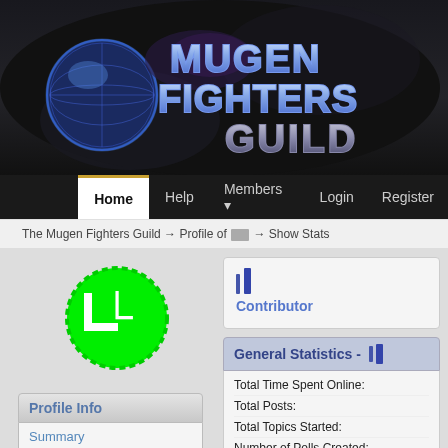[Figure (logo): Mugen Fighters Guild logo with globe graphic and stylized metallic text reading MUGEN FIGHTERS GUILD on dark background]
Home | Help | Members | Login | Register
The Mugen Fighters Guild → Profile of [user] → Show Stats
[Figure (illustration): Green circular avatar badge with white LC logo icon]
Contributor
General Statistics - [user icon]
Profile Info
Summary
Show Stats
Total Time Spent Online:
Total Posts:
Total Topics Started:
Number of Polls Created: